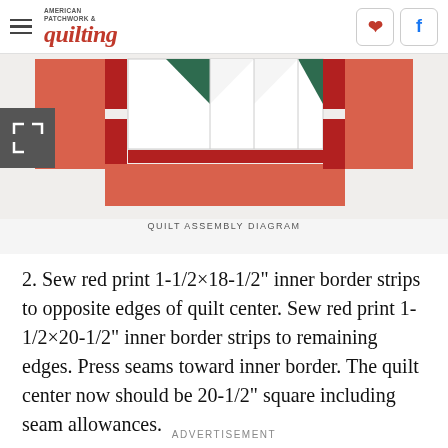AMERICAN PATCHWORK & quilting
[Figure (schematic): Quilt assembly diagram showing horizontal strips of red/coral rectangles and a central panel with green triangular design on white background, bordered by dark red strips.]
QUILT ASSEMBLY DIAGRAM
2. Sew red print 1-1/2×18-1/2" inner border strips to opposite edges of quilt center. Sew red print 1-1/2×20-1/2" inner border strips to remaining edges. Press seams toward inner border. The quilt center now should be 20-1/2" square including seam allowances.
ADVERTISEMENT